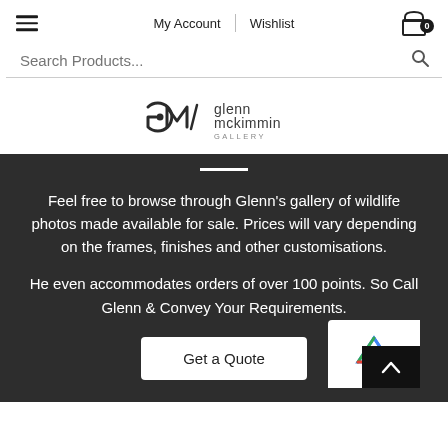My Account | Wishlist
[Figure (logo): Glenn McKimmin Gallery logo — stylized GM monogram with text 'glenn mckimmin GALLERY']
Feel free to browse through Glenn's gallery of wildlife photos made available for sale. Prices will vary depending on the frames, finishes and other customisations.
He even accommodates orders of over 100 points. So Call Glenn & Convey Your Requirements.
Get a Quote